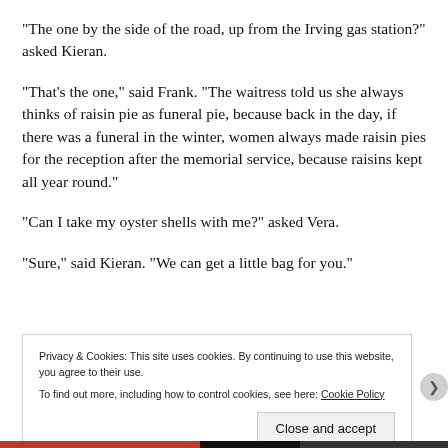“The one by the side of the road, up from the Irving gas station?” asked Kieran.
“That’s the one,” said Frank. “The waitress told us she always thinks of raisin pie as funeral pie, because back in the day, if there was a funeral in the winter, women always made raisin pies for the reception after the memorial service, because raisins kept all year round.”
“Can I take my oyster shells with me?” asked Vera.
“Sure,” said Kieran. “We can get a little bag for you.”
Privacy & Cookies: This site uses cookies. By continuing to use this website, you agree to their use.
To find out more, including how to control cookies, see here: Cookie Policy